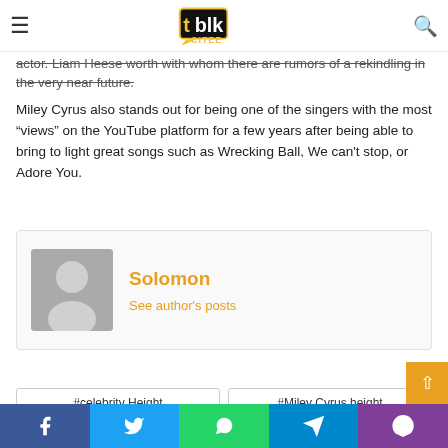blk citee logo with hamburger menu and search icon
actor. Liam Heese worth with whom there are rumors of a rekindling in the very near future.
Miley Cyrus also stands out for being one of the singers with the most “views” on the YouTube platform for a few years after being able to bring to light great songs such as Wrecking Ball, We can't stop, or Adore You.
Solomon
See author's posts
#celebrity Height
#Miley Cyrus height
Facebook Twitter WhatsApp Telegram Viber social share buttons